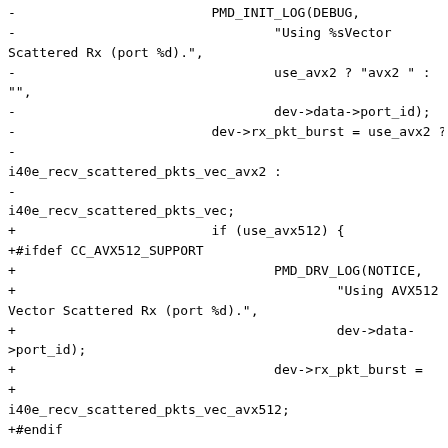-                         PMD_INIT_LOG(DEBUG,
-                                 "Using %sVector Scattered Rx (port %d).",
-                                 use_avx2 ? "avx2 " : "",
-                                 dev->data->port_id);
-                         dev->rx_pkt_burst = use_avx2 ?
-
i40e_recv_scattered_pkts_vec_avx2 :
-
i40e_recv_scattered_pkts_vec;
+                         if (use_avx512) {
+#ifdef CC_AVX512_SUPPORT
+                                 PMD_DRV_LOG(NOTICE,
+                                         "Using AVX512 Vector Scattered Rx (port %d).",
+                                         dev->data->port_id);
+                                 dev->rx_pkt_burst =
+
i40e_recv_scattered_pkts_vec_avx512;
+#endif
+                         } else {
+                                 PMD_INIT_LOG(DEBUG,
+                                         "Using %sVector Scattered Rx (port %d).",
+                                         use_avx2 ? "avx2 " : "",
+                                         dev->data->port_id);